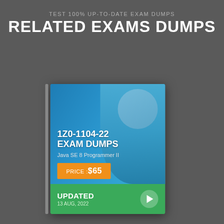TEST 100% UP-TO-DATE EXAM DUMPS
RELATED EXAMS DUMPS
[Figure (infographic): Exam dump product card for 1Z0-1104-22 showing a professional man in a blue suit with arms crossed, overlaid with exam details: '1Z0-1104-22 EXAM DUMPS', subtitle 'Java SE 8 Programmer II', price button 'PRICE :$65', and a green footer showing 'UPDATED 13 AUG, 2022' with a play button icon.]